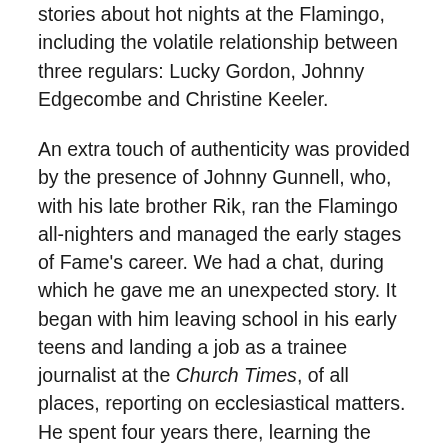stories about hot nights at the Flamingo, including the volatile relationship between three regulars: Lucky Gordon, Johnny Edgecombe and Christine Keeler.
An extra touch of authenticity was provided by the presence of Johnny Gunnell, who, with his late brother Rik, ran the Flamingo all-nighters and managed the early stages of Fame's career. We had a chat, during which he gave me an unexpected story. It began with him leaving school in his early teens and landing a job as a trainee journalist at the Church Times, of all places, reporting on ecclesiastical matters. He spent four years there, learning the craft skills; when called up for National Service in 1958, his knowledge of shorthand won him a desk job in an Army office in the West End, which was a whole lot better than being posted to Aden or the Rhineland. Working 9 to 5 in central London and earning